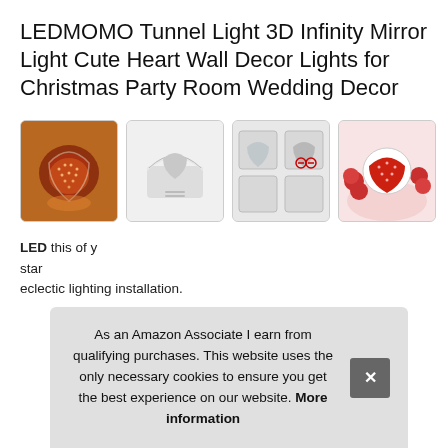LEDMOMO Tunnel Light 3D Infinity Mirror Light Cute Heart Wall Decor Lights for Christmas Party Room Wedding Decor
[Figure (photo): Four product thumbnail images of a heart-shaped infinity mirror light: 1) glowing red/orange heart light on dark background, 2) closed white heart-shaped box, 3) flat lay showing front and back panels of white heart mirror, 4) heart light with red roses on pink background.]
LED... this... of y... star... eclectic lighting installation.
As an Amazon Associate I earn from qualifying purchases. This website uses the only necessary cookies to ensure you get the best experience on our website. More information